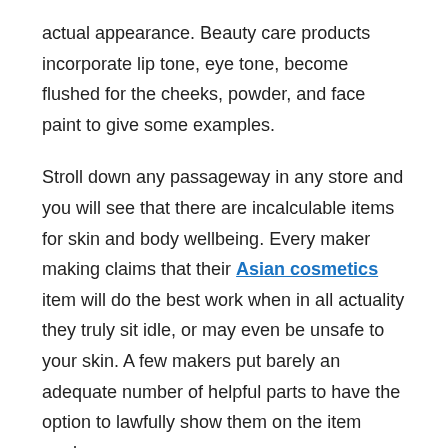actual appearance. Beauty care products incorporate lip tone, eye tone, become flushed for the cheeks, powder, and face paint to give some examples.
Stroll down any passageway in any store and you will see that there are incalculable items for skin and body wellbeing. Every maker making claims that their Asian cosmetics item will do the best work when in all actuality they truly sit idle, or may even be unsafe to your skin. A few makers put barely an adequate number of helpful parts to have the option to lawfully show them on the item mark.
I envision you have heard, read the mark, know what you are purchasing, and other valuable ideas. This is no less valid for healthy skin beauty care products items. You actually must realize what is in that cream, moisturizers, cleanser, or serum that you are putting on your body.